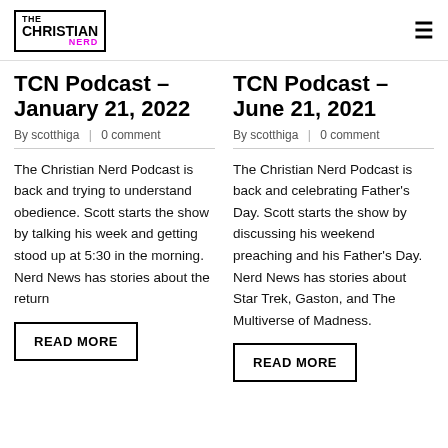THE CHRISTIAN NERD
TCN Podcast – January 21, 2022
By scotthiga | 0 comment
The Christian Nerd Podcast is back and trying to understand obedience. Scott starts the show by talking his week and getting stood up at 5:30 in the morning. Nerd News has stories about the return
READ MORE
TCN Podcast – June 21, 2021
By scotthiga | 0 comment
The Christian Nerd Podcast is back and celebrating Father's Day. Scott starts the show by discussing his weekend preaching and his Father's Day. Nerd News has stories about Star Trek, Gaston, and The Multiverse of Madness.
READ MORE